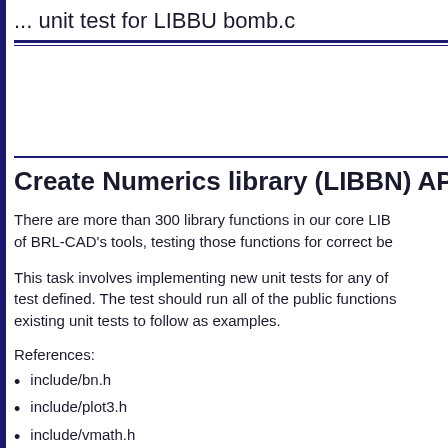... unit test for LIBBU bomb.c
Create Numerics library (LIBBN) API uni
There are more than 300 library functions in our core LIB of BRL-CAD's tools, testing those functions for correct be
This task involves implementing new unit tests for any of test defined. The test should run all of the public functions existing unit tests to follow as examples.
References:
include/bn.h
include/plot3.h
include/vmath.h
src/libbn/*.c